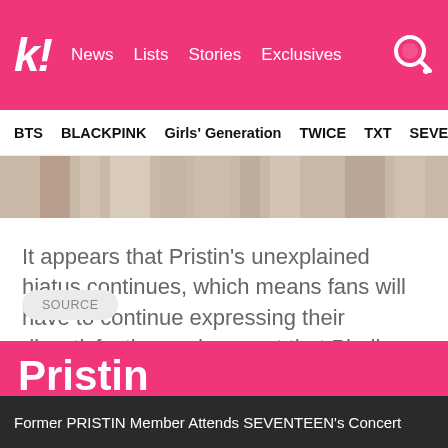k! News  Lists  Stories  Exclusives
BTS  BLACKPINK  Girls' Generation  TWICE  TXT  SEVE
[Figure (photo): Cropped photo strip showing people, partially visible at top of content area]
It appears that Pristin's unexplained hiatus continues, which means fans will have to continue expressing their dissatisfaction and request that Pledis Entertainment provide some kind of explanation.
SOURCE
Pristin
Former PRISTIN Member Attends SEVENTEEN's Concert